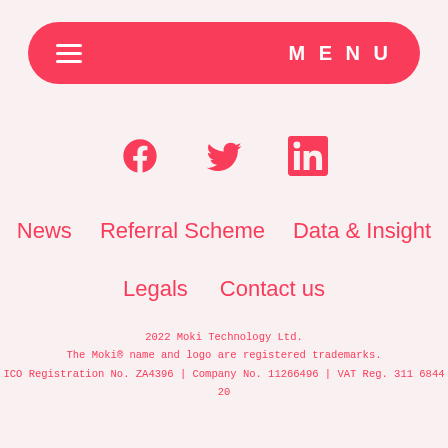MENU
[Figure (illustration): Social media icons: Facebook, Twitter, LinkedIn in pink/red color]
News
Referral Scheme
Data & Insight
Legals
Contact us
2022 Moki Technology Ltd.
The Moki® name and logo are registered trademarks.
ICO Registration No. ZA4396 | Company No. 11266496 | VAT Reg. 311 6844 20